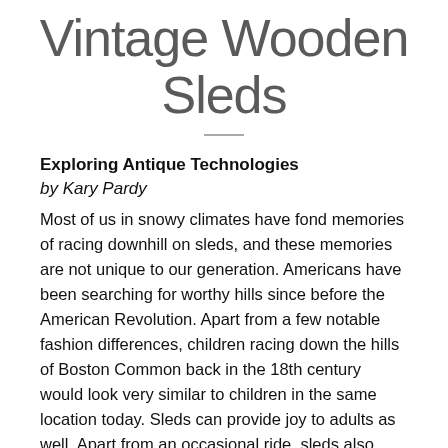Vintage Wooden Sleds
Exploring Antique Technologies
by Kary Pardy
Most of us in snowy climates have fond memories of racing downhill on sleds, and these memories are not unique to our generation. Americans have been searching for worthy hills since before the American Revolution. Apart from a few notable fashion differences, children racing down the hills of Boston Common back in the 18th century would look very similar to children in the same location today. Sleds can provide joy to adults as well. Apart from an occasional ride, sleds also make notable collectibles, admired for their strong powers of nostalgia, their exterior art (if